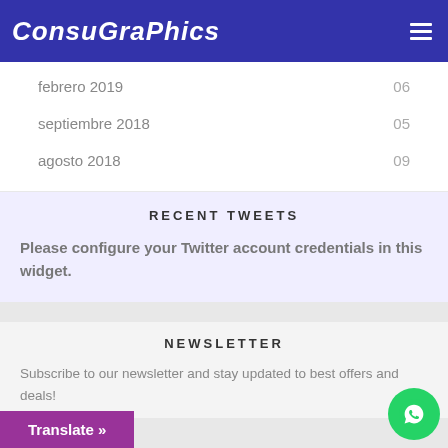ConsuGraPhics
febrero 2019   06
septiembre 2018   05
agosto 2018   09
RECENT TWEETS
Please configure your Twitter account credentials in this widget.
NEWSLETTER
Subscribe to our newsletter and stay updated to best offers and deals!
Translate »